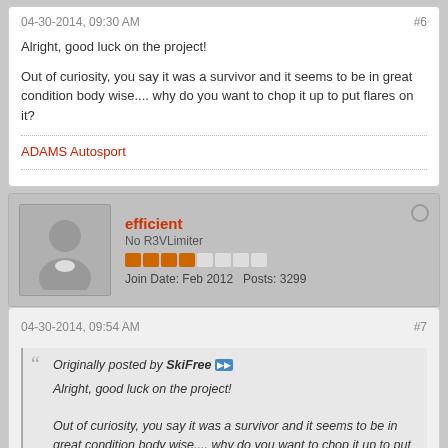04-30-2014, 09:30 AM
#6
Alright, good luck on the project!
Out of curiosity, you say it was a survivor and it seems to be in great condition body wise.... why do you want to chop it up to put flares on it?
ADAMS Autosport
efficient
No R3VLimiter
Join Date: Feb 2012   Posts: 3299
04-30-2014, 09:54 AM
#7
Originally posted by SkiFree
Alright, good luck on the project!

Out of curiosity, you say it was a survivor and it seems to be in great condition body wise.... why do you want to chop it up to put flares on it?